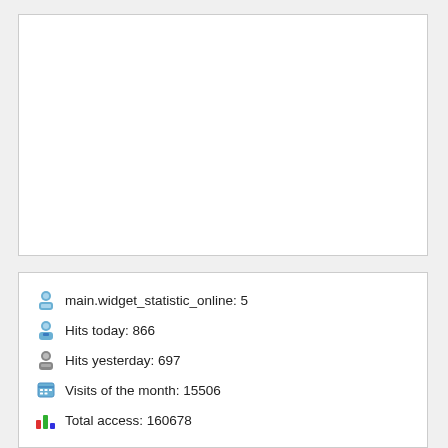[Figure (other): Empty white box area at the top of the page]
main.widget_statistic_online: 5
Hits today: 866
Hits yesterday: 697
Visits of the month: 15506
Total access: 160678